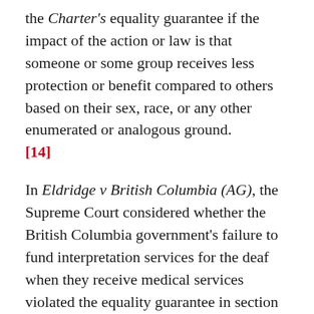the Charter's equality guarantee if the impact of the action or law is that someone or some group receives less protection or benefit compared to others based on their sex, race, or any other enumerated or analogous ground. [14]
In Eldridge v British Columbia (AG), the Supreme Court considered whether the British Columbia government's failure to fund interpretation services for the deaf when they receive medical services violated the equality guarantee in section 15(1).[15]
Unlike hearing persons, the deaf patients who relied on sign language interpreters faced a significant communication barrier when accessing medical services if no sign language